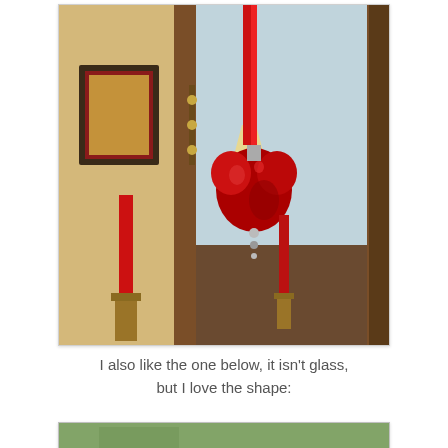[Figure (photo): A red heart-shaped glass ornament hanging by a red ribbon from a wooden mirror frame. A red candle on a brass candlestick is visible to the left. The room interior with a wall hook rack and a framed picture is reflected in the mirror.]
I also like the one below, it isn't glass, but I love the shape:
[Figure (photo): Bottom portion of a second photo, partially visible, showing a green/teal colored item.]